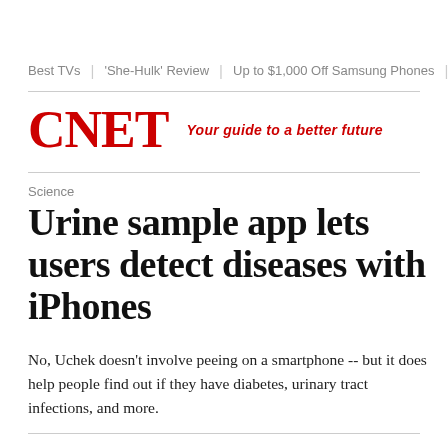Best TVs  |  'She-Hulk' Review  |  Up to $1,000 Off Samsung Phones  |  B
[Figure (logo): CNET logo in red bold serif font with tagline 'Your guide to a better future' in red italic]
Science
Urine sample app lets users detect diseases with iPhones
No, Uchek doesn't involve peeing on a smartphone -- but it does help people find out if they have diabetes, urinary tract infections, and more.